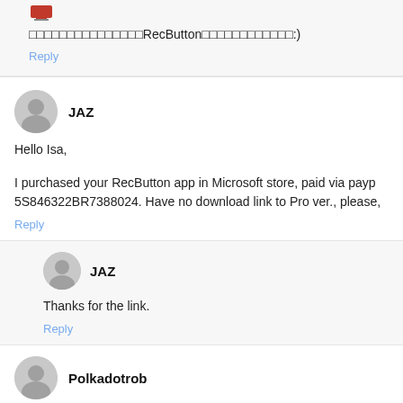□□□□□□□□□□□□□□□RecButton□□□□□□□□□□□□:)
Reply
JAZ
Hello Isa,
I purchased your RecButton app in Microsoft store, paid via payp 5S846322BR7388024. Have no download link to Pro ver., please,
Reply
JAZ
Thanks for the link.
Reply
Polkadotrob